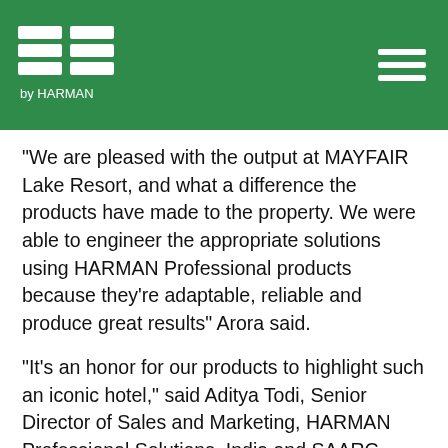BSS by HARMAN
“We are pleased with the output at MAYFAIR Lake Resort, and what a difference the products have made to the property. We were able to engineer the appropriate solutions using HARMAN Professional products because they’re adaptable, reliable and produce great results” Arora said.
“It’s an honor for our products to highlight such an iconic hotel,” said Aditya Todi, Senior Director of Sales and Marketing, HARMAN Professional Solutions, India and SAARC. “MAYFAIR Hotels & Resorts offer some of the best luxury hotels in India and provide today’s travellers with authentic hospitality, thoughtful service and world-class